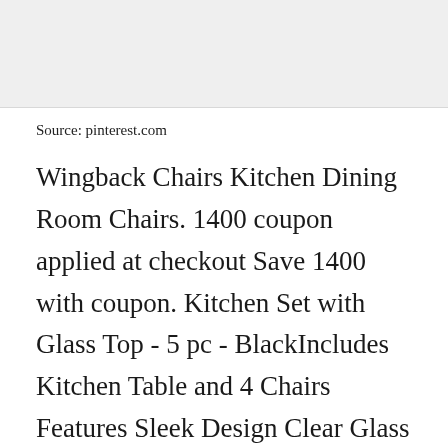[Figure (photo): Gray placeholder image at the top of the page]
Source: pinterest.com
Wingback Chairs Kitchen Dining Room Chairs. 1400 coupon applied at checkout Save 1400 with coupon. Kitchen Set with Glass Top - 5 pc - BlackIncludes Kitchen Table and 4 Chairs Features Sleek Design Clear Glass Top with Chrome Legs. Ad Natural Stone Collection of. Dining Room Sets Kijiji dining r[CLOSE X]airs kijiji calgary